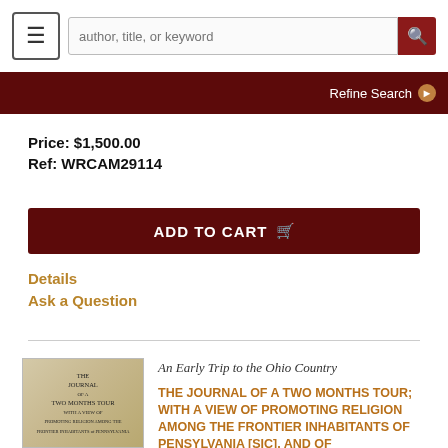author, title, or keyword | Refine Search
Price: $1,500.00
Ref: WRCAM29114
ADD TO CART
Details
Ask a Question
[Figure (photo): Book cover of The Journal of a Two Months Tour]
An Early Trip to the Ohio Country
THE JOURNAL OF A TWO MONTHS TOUR; WITH A VIEW OF PROMOTING RELIGION AMONG THE FRONTIER INHABITANTS OF PENSYLVANIA [sic], AND OF